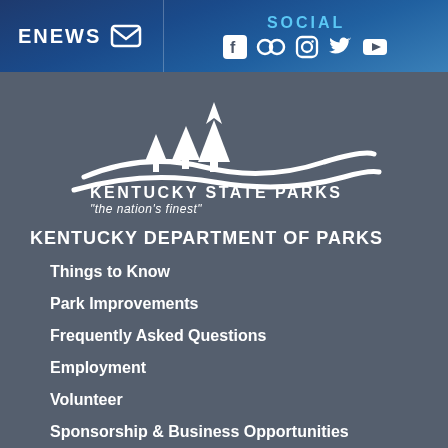ENEWS  SOCIAL
[Figure (logo): Kentucky State Parks logo with white pine trees and wave motif, text: KENTUCKY STATE PARKS "the nation's finest"]
KENTUCKY DEPARTMENT OF PARKS
Things to Know
Park Improvements
Frequently Asked Questions
Employment
Volunteer
Sponsorship & Business Opportunities